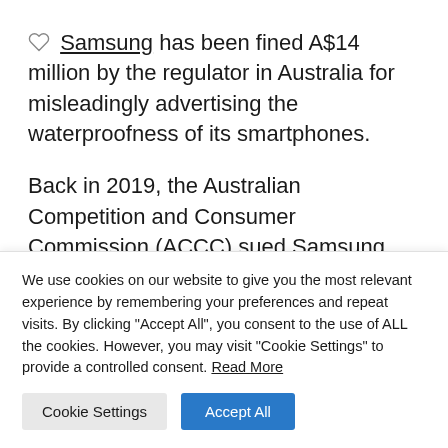Samsung has been fined A$14 million by the regulator in Australia for misleadingly advertising the waterproofness of its smartphones.
Back in 2019, the Australian Competition and Consumer Commission (ACCC) sued Samsung Australia over misleading ads for waterproof phones. The South Korean tech giant has repeatedly touted several of its Galaxy S, Galaxy A
We use cookies on our website to give you the most relevant experience by remembering your preferences and repeat visits. By clicking "Accept All", you consent to the use of ALL the cookies. However, you may visit "Cookie Settings" to provide a controlled consent. Read More